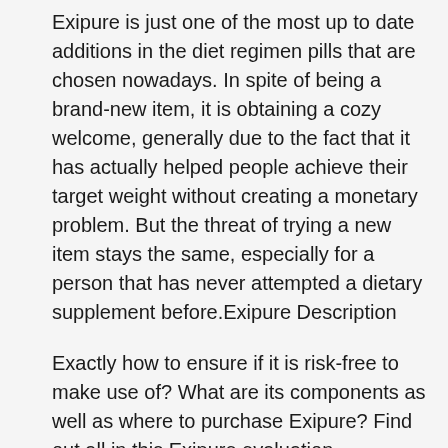Exipure is just one of the most up to date additions in the diet regimen pills that are chosen nowadays. In spite of being a brand-new item, it is obtaining a cozy welcome, generally due to the fact that it has actually helped people achieve their target weight without creating a monetary problem. But the threat of trying a new item stays the same, especially for a person that has never attempted a dietary supplement before.Exipure Description
Exactly how to ensure if it is risk-free to make use of? What are its components as well as where to purchase Exipure? Find out all in this Exipure evaluation.